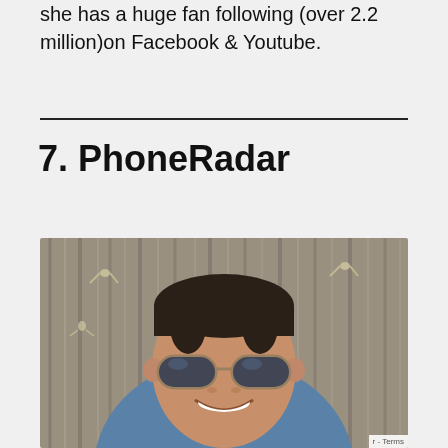she has a huge fan following (over 2.2 million)on Facebook & Youtube.
7. PhoneRadar
[Figure (photo): A young man with dark hair wearing aviator sunglasses, smiling, photographed outdoors against a background that appears to be a wooden or thatched fence/wall with small decorative bird or figure ornaments. He is wearing a blue shirt.]